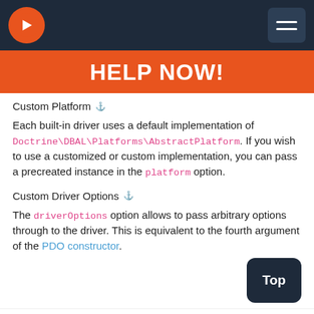Navigation bar with logo and menu button
HELP NOW!
Custom Platform
Each built-in driver uses a default implementation of Doctrine\DBAL\Platforms\AbstractPlatform. If you wish to use a customized or custom implementation, you can pass a precreated instance in the platform option.
Custom Driver Options
The driverOptions option allows to pass arbitrary options through to the driver. This is equivalent to the fourth argument of the PDO constructor.
Projects   Partners   Sponsorship   Community   Blog